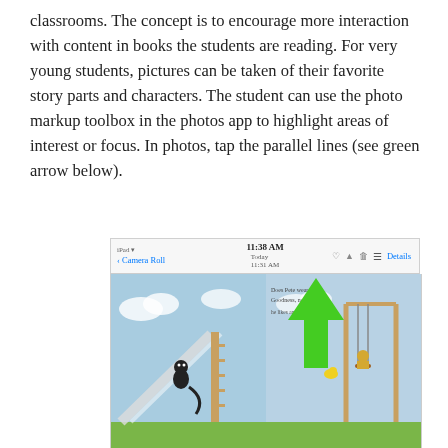classrooms. The concept is to encourage more interaction with content in books the students are reading. For very young students, pictures can be taken of their favorite story parts and characters. The student can use the photo markup toolbox in the photos app to highlight areas of interest or focus. In photos, tap the parallel lines (see green arrow below).
[Figure (screenshot): Screenshot of iPad Photos app showing a children's book page ('The Playground!') with a green arrow pointing up to the parallel lines (menu) icon in the top right of the Photos app toolbar, next to 'Details'.]